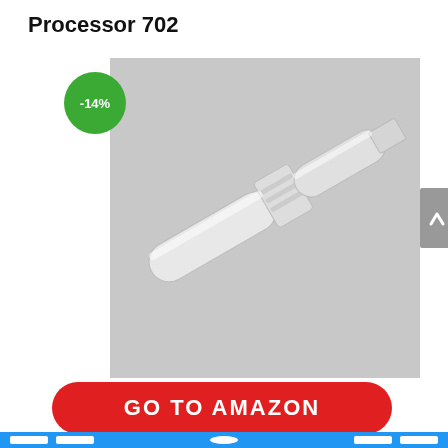Processor 702
[Figure (photo): A white plastic cylindrical tube connector/adapter component, shown diagonally on a gray background. A green circular badge with '-14%' is overlaid in the upper left corner of the image.]
GO TO AMAZON